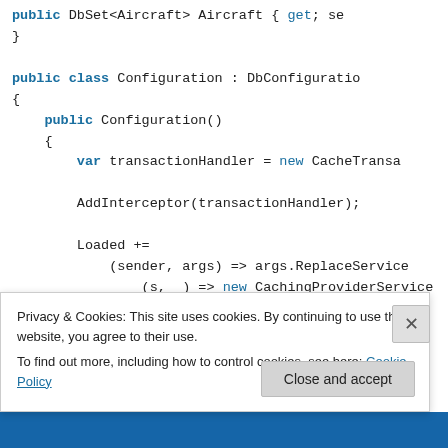public DbSet<Aircraft> Aircraft { get; se
}

public class Configuration : DbConfiguratio
{
    public Configuration()
    {
        var transactionHandler = new CacheTrans

        AddInterceptor(transactionHandler);

        Loaded +=
            (sender, args) => args.ReplaceService
                (s, _) => new CachingProviderService
    }
}
Privacy & Cookies: This site uses cookies. By continuing to use this website, you agree to their use.
To find out more, including how to control cookies, see here: Cookie Policy